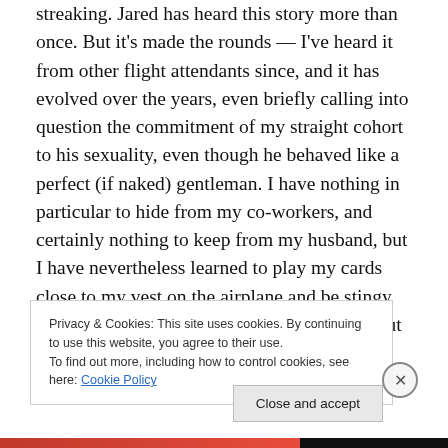streaking. Jared has heard this story more than once. But it's made the rounds — I've heard it from other flight attendants since, and it has evolved over the years, even briefly calling into question the commitment of my straight cohort to his sexuality, even though he behaved like a perfect (if naked) gentleman. I have nothing in particular to hide from my co-workers, and certainly nothing to keep from my husband, but I have nevertheless learned to play my cards close to my vest on the airplane and be stingy with the personal details that I hand out. About myself, anyway — I have hilarious stories to tell about my friends!
Privacy & Cookies: This site uses cookies. By continuing to use this website, you agree to their use. To find out more, including how to control cookies, see here: Cookie Policy